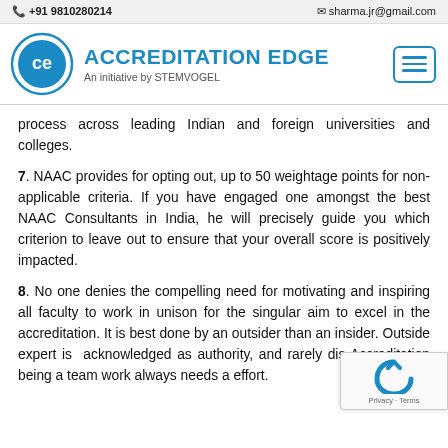+91 9810280214   sharma.jr@gmail.com
[Figure (logo): Accreditation Edge logo with circular badge and brand name 'ACCREDITATION EDGE - An initiative by STEMVOGEL']
process across leading Indian and foreign universities and colleges.
7. NAAC provides for opting out, up to 50 weightage points for non-applicable criteria. If you have engaged one amongst the best NAAC Consultants in India, he will precisely guide you which criterion to leave out to ensure that your overall score is positively impacted.
8. No one denies the compelling need for motivating and inspiring all faculty to work in unison for the singular aim to excel in the accreditation. It is best done by an outsider than an insider. Outside expert is acknowledged as authority, and rarely dis... Accreditation being a team work always needs a... effort.